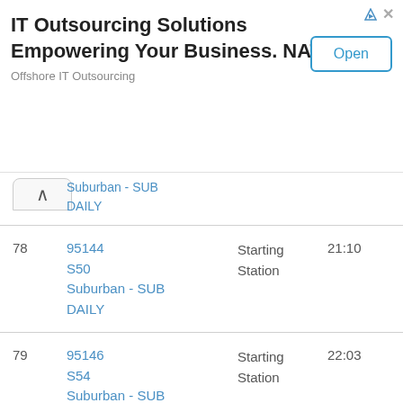[Figure (other): Advertisement banner: IT Outsourcing Solutions / Empowering Your Business. NATEK / Offshore IT Outsourcing / Open button]
| # | Train Info | Station | Time |
| --- | --- | --- | --- |
|  | Suburban - SUB
DAILY |  |  |
| 78 | 95144
S50
Suburban - SUB
DAILY | Starting
Station | 21:10 |
| 79 | 95146
S54
Suburban - SUB
DAILY | Starting
Station | 22:03 |
| 80 | 96001
SKP1
Suburban - SUB
DAILY | Starting
Station | 05:43 |